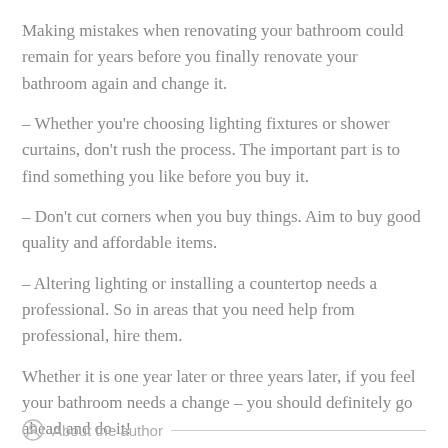Making mistakes when renovating your bathroom could remain for years before you finally renovate your bathroom again and change it.
– Whether you're choosing lighting fixtures or shower curtains, don't rush the process. The important part is to find something you like before you buy it.
– Don't cut corners when you buy things. Aim to buy good quality and affordable items.
– Altering lighting or installing a countertop needs a professional. So in areas that you need help from professional, hire them.
Whether it is one year later or three years later, if you feel your bathroom needs a change – you should definitely go ahead and do it!
About the author